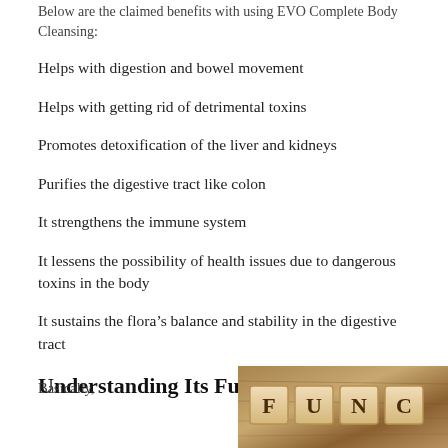Below are the claimed benefits with using EVO Complete Body Cleansing:
Helps with digestion and bowel movement
Helps with getting rid of detrimental toxins
Promotes detoxification of the liver and kidneys
Purifies the digestive tract like colon
It strengthens the immune system
It lessens the possibility of health issues due to dangerous toxins in the body
It sustains the flora’s balance and stability in the digestive tract
Understanding Its Functions
Basically,
[Figure (photo): Wooden letter tiles spelling out text on a wooden surface, sepia/brown tones]